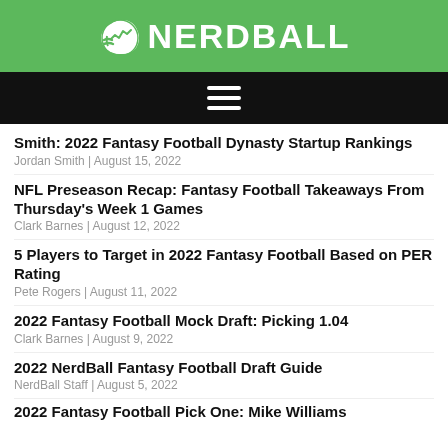NERDBALL
[Figure (logo): NerdBall logo with football helmet icon and white text on green background]
Smith: 2022 Fantasy Football Dynasty Startup Rankings
Jordan Smith | August 15, 2022
NFL Preseason Recap: Fantasy Football Takeaways From Thursday's Week 1 Games
Clark Barnes | August 12, 2022
5 Players to Target in 2022 Fantasy Football Based on PER Rating
Pete Rogers | August 11, 2022
2022 Fantasy Football Mock Draft: Picking 1.04
Clark Barnes | August 9, 2022
2022 NerdBall Fantasy Football Draft Guide
NerdBall Staff | August 5, 2022
2022 Fantasy Football Pick One: Mike Williams